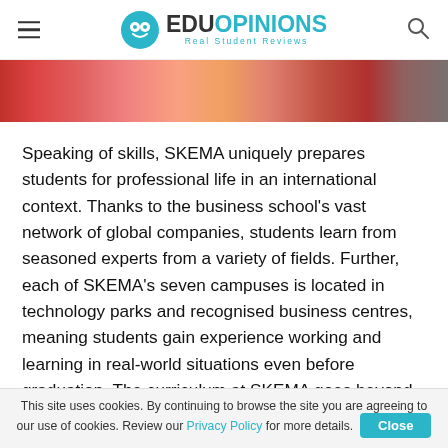EduOpinions - Real Student Reviews
[Figure (photo): Partial image strip showing students or university scene, predominantly red/orange tones]
Speaking of skills, SKEMA uniquely prepares students for professional life in an international context. Thanks to the business school's vast network of global companies, students learn from seasoned experts from a variety of fields. Further, each of SKEMA's seven campuses is located in technology parks and recognised business centres, meaning students gain experience working and learning in real-world situations even before graduation. The curriculum at SKEMA goes beyond a typical business education, incorporating valuable skills like negotiation, intercultural understanding, innovation and
This site uses cookies. By continuing to browse the site you are agreeing to our use of cookies. Review our Privacy Policy for more details.  Close